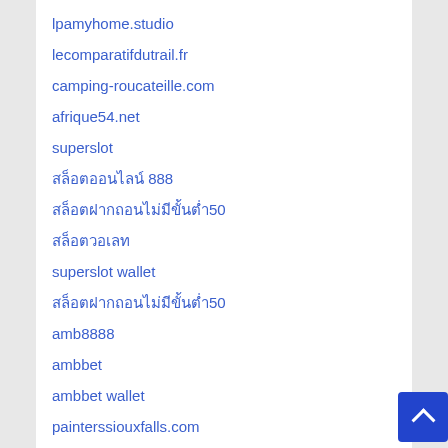lpamyhome.studio
lecomparatifdutrail.fr
camping-roucateille.com
afrique54.net
superslot
สล็อตออนไลน์ 888
สล็อตฝากถอนไม่มีขั้นต่ำ50
สล็อตวอเลท
superslot wallet
สล็อตฝากถอนไม่มีขั้นต่ำ50
amb8888
ambbet
ambbet wallet
painterssiouxfalls.com
perfume-empire.com/collections/ed-hardy